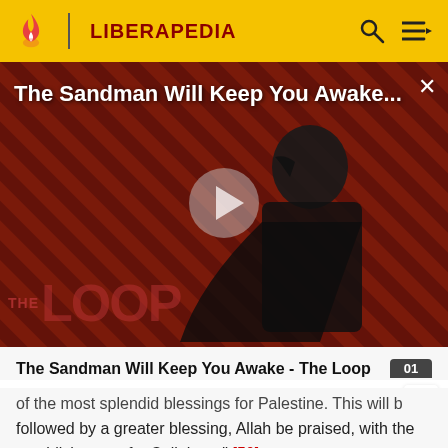LIBERAPEDIA
[Figure (screenshot): Video thumbnail for 'The Sandman Will Keep You Awake - The Loop' showing a dark-cloaked figure against a diagonal striped red/dark background, with a play button overlay and 'THE LOOP' text watermark]
The Sandman Will Keep You Awake - The Loop
of the most splendid blessings for Palestine. This will be followed by a greater blessing, Allah be praised, with the establishment of a Caliphate." [50]